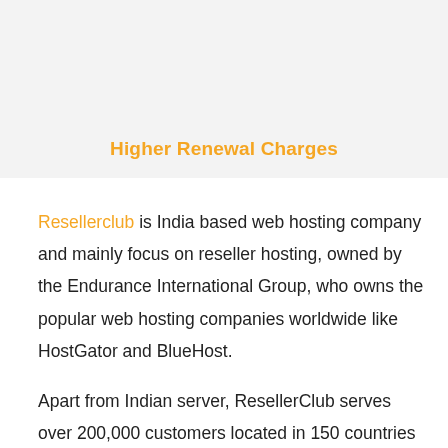Higher Renewal Charges
Resellerclub is India based web hosting company and mainly focus on reseller hosting, owned by the Endurance International Group, who owns the popular web hosting companies worldwide like HostGator and BlueHost.
Apart from Indian server, ResellerClub serves over 200,000 customers located in 150 countries and manages over 5 million domain names.